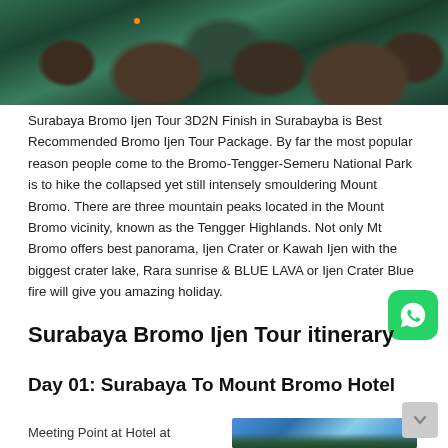[Figure (photo): Dark night photo of volcanic rocks and blue fire at Ijen Crater, with glowing orange light spots visible among green-tinted boulders]
Surabaya Bromo Ijen Tour 3D2N Finish in Surabayba is Best Recommended Bromo Ijen Tour Package. By far the most popular reason people come to the Bromo-Tengger-Semeru National Park is to hike the collapsed yet still intensely smouldering Mount Bromo. There are three mountain peaks located in the Mount Bromo vicinity, known as the Tengger Highlands. Not only Mt Bromo offers best panorama, Ijen Crater or Kawah Ijen with the biggest crater lake, Rara sunrise & BLUE LAVA or Ijen Crater Blue fire will give you amazing holiday.
Surabaya Bromo Ijen Tour itinerary
Day 01: Surabaya To Mount Bromo Hotel
Meeting Point at Hotel at
[Figure (photo): Small thumbnail image showing a blue sky and green landscape, likely Mount Bromo area]